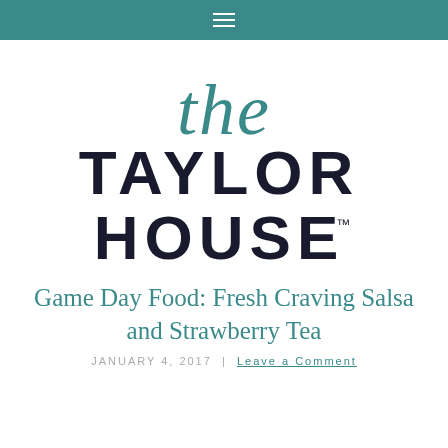≡
[Figure (logo): The Taylor House logo: cursive italic 'the' in teal above bold sans-serif 'TAYLOR HOUSE™' in dark navy]
Game Day Food: Fresh Craving Salsa and Strawberry Tea
JANUARY 4, 2017  |  Leave a Comment